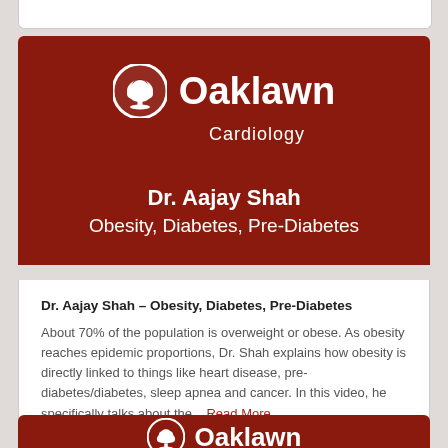[Figure (logo): Oaklawn Cardiology logo with tree icon in circle and text 'Oaklawn Cardiology' on dark red background]
Dr. Aajay Shah
Obesity, Diabetes, Pre-Diabetes
Dr. Aajay Shah – Obesity, Diabetes, Pre-Diabetes
About 70% of the population is overweight or obese. As obesity reaches epidemic proportions, Dr. Shah explains how obesity is directly linked to things like heart disease, pre-diabetes/diabetes, sleep apnea and cancer. In this video, he specifically talks about the... Read More
Wed, April 18, 2018 in Blog
[Figure (logo): Partial Oaklawn Cardiology logo on dark red background at bottom of page]